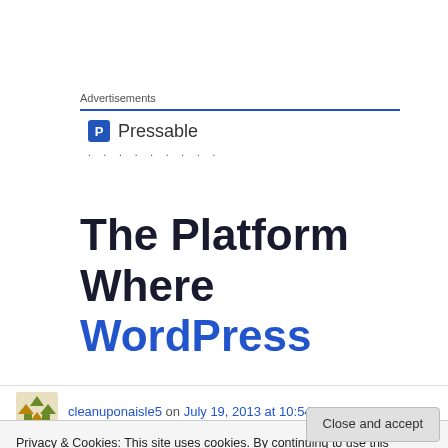Advertisements
[Figure (logo): Pressable logo with blue square icon containing letter P and text 'Pressable', followed by a row of dots]
The Platform Where WordPress
cleanuponaisle5 on July 19, 2013 at 10:54 pm
Privacy & Cookies: This site uses cookies. By continuing to use this website, you agree to their use.
To find out more, including how to control cookies, see here: Cookie Policy